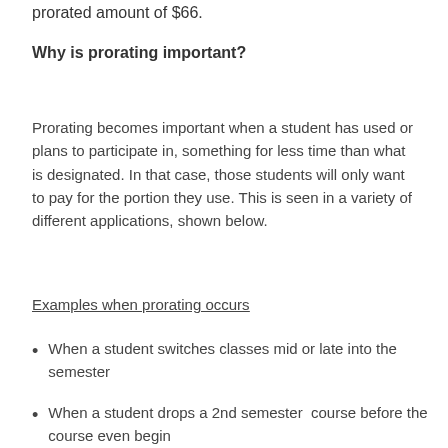prorated amount of $66.
Why is prorating important?
Prorating becomes important when a student has used or plans to participate in, something for less time than what is designated. In that case, those students will only want to pay for the portion they use. This is seen in a variety of different applications, shown below.
Examples when prorating occurs
When a student switches classes mid or late into the semester
When a student drops a 2nd semester  course before the course even begin